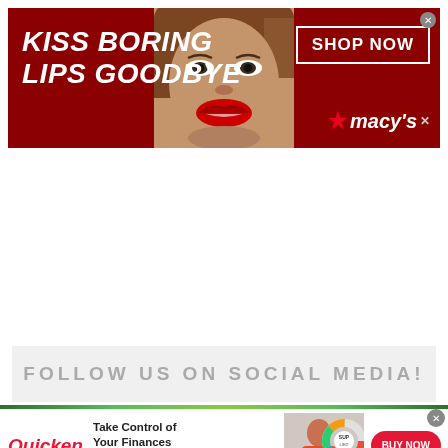[Figure (photo): Macy's advertisement banner: dark red/maroon background with white italic bold text 'KISS BORING LIPS GOODBYE' on the left, a woman's face with bright red lipstick in the center, 'SHOP NOW' button in a white rectangle outline top right, and Macy's star logo with brand name bottom right. A small X close button in the top right corner.]
[Figure (infographic): Gray rectangular section with large spaced uppercase gray text reading 'FOLLOW US ON SOCIAL MEDIA!']
[Figure (photo): Quicken advertisement: white background with red Quicken logo on the left, bold text 'Take Control of Your Finances' with subtext 'Plan for today and tomorrow with one solution to manage all your finances.', a photo of a woman working at a desk with a colorful pie-chart graphic overlay, and a red 'BUY NOW' pill button on the right. Close X button top right.]